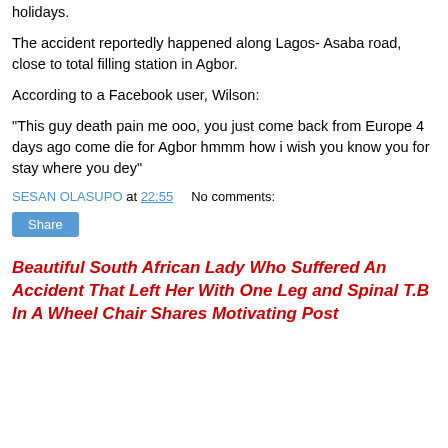holidays.
The accident reportedly happened along Lagos- Asaba road, close to total filling station in Agbor.
According to a Facebook user, Wilson:
"This guy death pain me ooo, you just come back from Europe 4 days ago come die for Agbor hmmm how i wish you know you for stay where you dey"
SESAN OLASUPO at 22:55    No comments:
Share
Beautiful South African Lady Who Suffered An Accident That Left Her With One Leg and Spinal T.B In A Wheel Chair Shares Motivating Post